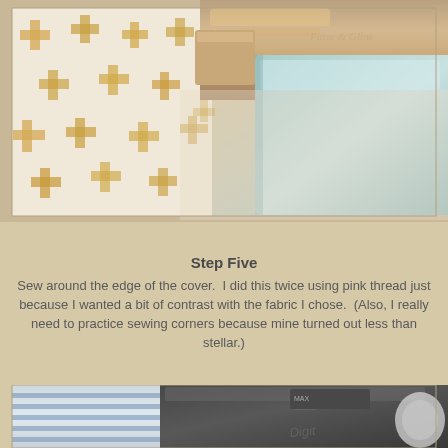[Figure (photo): Close-up photo of fabric with gold cross/plus pattern being fed under a sewing machine presser foot. The fabric is white with golden cross shapes, and a light blue/mint object is visible to the right. Watermark text 'Pitter & Glink' visible in upper right.]
Step Five
Sew around the edge of the cover.  I did this twice using pink thread just because I wanted a bit of contrast with the fabric I chose.  (Also, I really need to practice sewing corners because mine turned out less than stellar.)
[Figure (photo): Close-up photo of a sewing machine (Digit- brand visible) with striped blue and white fabric underneath the presser foot. The machine is dark/black and the fabric shows horizontal blue stripes.]